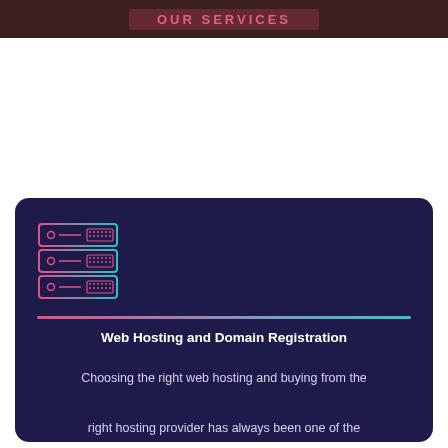OUR SERVICES
[Figure (illustration): Server rack icon with three servers drawn in pink/magenta outline style on dark navy background]
Web Hosting and Domain Registration
Choosing the right web hosting and buying from the right hosting provider has always been one of the concerns of those who want to launch a website. By